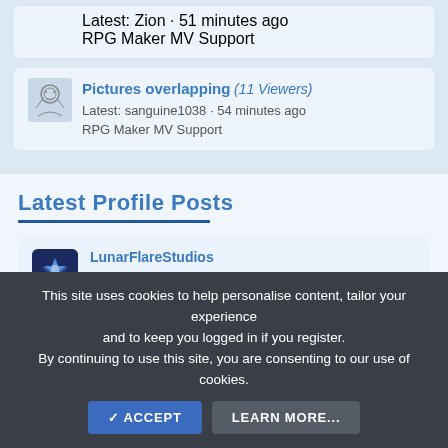Latest: Zion · 51 minutes ago
RPG Maker MV Support
Pictures overlapping (11 Viewers)
Latest: sanguine1038 · 54 minutes ago
RPG Maker MV Support
Latest Profile Posts
LunarFlareStudios
Not sure how to proceed with my tornado siren assets, but they're coming along well. In the meantime, I'm working on my Christmas movie... anyone remember Tattletail?
43 minutes ago
This site uses cookies to help personalise content, tailor your experience and to keep you logged in if you register.
By continuing to use this site, you are consenting to our use of cookies.
ACCEPT   LEARN MORE...